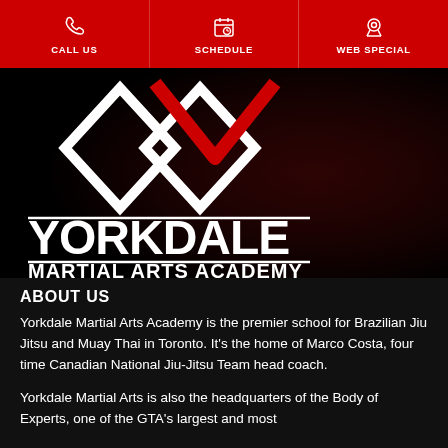CALL US | SCHEDULE | WEB SPECIAL
[Figure (logo): Yorkdale Martial Arts Academy logo — geometric diamond/chevron shapes in white and red on black background, with text YORKDALE MARTIAL ARTS ACADEMY]
ABOUT US
Yorkdale Martial Arts Academy is the premier school for Brazilian Jiu Jitsu and Muay Thai in Toronto. It's the home of Marco Costa, four time Canadian National Jiu-Jitsu Team head coach.
Yorkdale Martial Arts is also the headquarters of the Body of Experts, one of the GTA's largest and most...